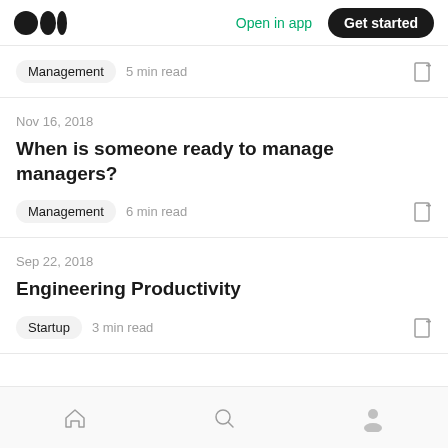Open in app | Get started
Management  5 min read
Nov 16, 2018
When is someone ready to manage managers?
Management  6 min read
Sep 22, 2018
Engineering Productivity
Startup  3 min read
Home  Search  Profile